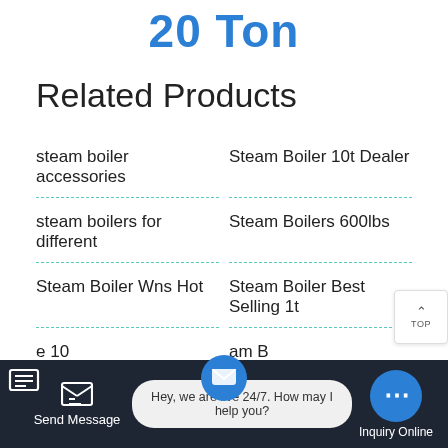20 Ton
Related Products
steam boiler accessories
Steam Boiler 10t Dealer
steam boilers for different
Steam Boilers 600lbs
Steam Boiler Wns Hot
Steam Boiler Best Selling 1t
e 10 am B
Send Message | Hey, we are live 24/7. How may I help you? | Inquiry Online